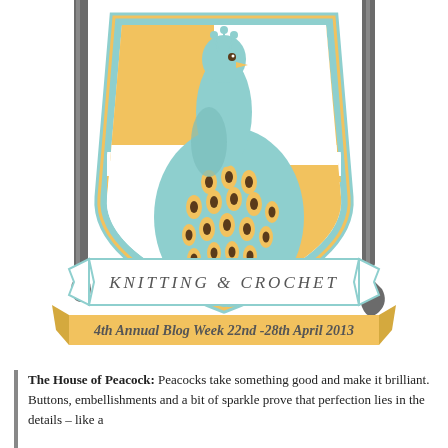[Figure (illustration): Heraldic crest/shield illustration featuring a peacock, knitting needles as supporters on left and right, a banner reading 'KNITTING & CROCHET', and a golden ribbon banner below reading '4th Annual Blog Week 22nd -28th April 2013'. The shield is divided into gold and white quarters with a light blue border. The peacock is teal/blue with decorative feather spots.]
The House of Peacock: Peacocks take something good and make it brilliant. Buttons, embellishments and a bit of sparkle prove that perfection lies in the details – like a